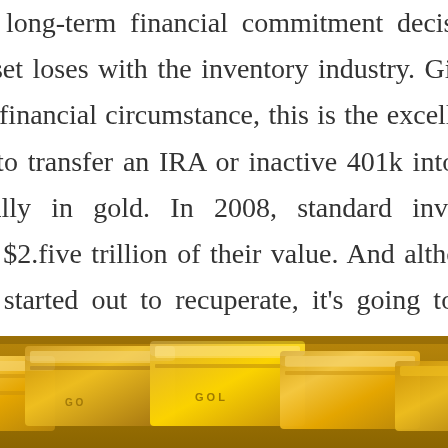sensible long-term financial commitment decision that may offset loses with the inventory industry. Giving the existing financial circumstance, this is the excellent time for you to transfer an IRA or inactive 401k into metals, specifically in gold. In 2008, standard investments dropped $2.five trillion of their value. And although the markets started out to recuperate, it's going to choose decades prior to the value reaches previous ranges.
[Figure (photo): Photograph of gold bars stacked together, showing a close-up view of shiny gold bullion with text markings partially visible.]